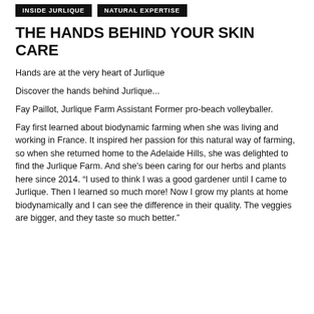INSIDE JURLIQUE   NATURAL EXPERTISE
THE HANDS BEHIND YOUR SKIN CARE
Hands are at the very heart of Jurlique
Discover the hands behind Jurlique...
Fay Paillot, Jurlique Farm Assistant Former pro-beach volleyballer.
Fay first learned about biodynamic farming when she was living and working in France. It inspired her passion for this natural way of farming, so when she returned home to the Adelaide Hills, she was delighted to find the Jurlique Farm. And she's been caring for our herbs and plants here since 2014. “I used to think I was a good gardener until I came to Jurlique. Then I learned so much more! Now I grow my plants at home biodynamically and I can see the difference in their quality. The veggies are bigger, and they taste so much better.”